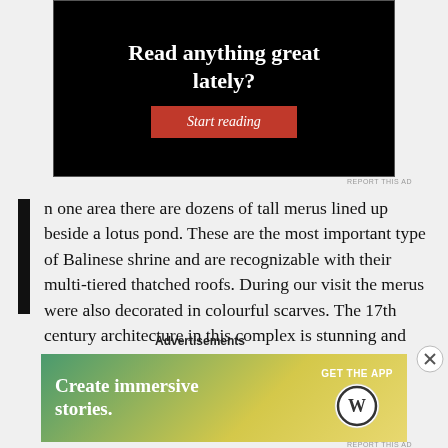[Figure (screenshot): Dark advertisement banner with white text reading 'Read anything great lately?' and a red 'Start reading' button on black background.]
REPORT THIS AD
n one area there are dozens of tall merus lined up beside a lotus pond. These are the most important type of Balinese shrine and are recognizable with their multi-tiered thatched roofs. During our visit the merus were also decorated in colourful scarves. The 17th century architecture in this complex is stunning and shouldn't be missed.
Advertisements
[Figure (screenshot): WordPress advertisement: 'Create immersive stories. GET THE APP' with WordPress logo on gradient green-yellow background.]
REPORT THIS AD